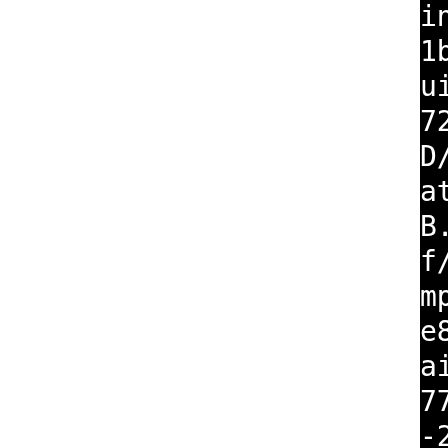include -I/tmp/B.e580372e-b877-4a09-91b4-dafd0e46e80f/BUILD/httpd-2.2.29/buildmpm-prefork/server -I/tmp/B.e580372e-b877-4a09-91b4-dafd0e46e80f/BUILD/httpd-2.2.29/modules/proxy -I/tmp/B.e580372e-b877-4a09-91b4-dafd0e46e80f/BUILD/httpd-2.2.29/modules/generators -I/usr/include/openssl -I/tmp/B.e580372e-b877-4a09-91b4-dafd0e46e80f/BUILD/httpd-2.2.29/modules/dav/main -prefer-pic -c /tmp/B.e580372e-b877-4a09-91b4-dafd0e46e80f/BUILD/httpd-2.2.29/modules/cache/mod_cache.c -o mod_cache.lo touch mod_cache.slo make[4]: Leaving directory '/tmp/B.e580372e-b877-4a09-91b4-dafd0e46e80f/BUILD/httpd-2.2.29/buildmpm-prefork/modules/cache' make[4]: Entering directory '/tmp/B.e580372e-b877-4a09-91b4-dafd0e46e80f/BUILD/httpd-2.2.29/buildmpm-prefork/modules/cache' /usr/share/apr/build-1/libtool --silent --mode=link --tag=CC i4